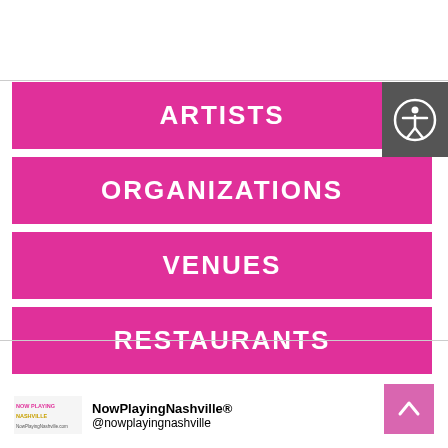ARTISTS
ORGANIZATIONS
VENUES
RESTAURANTS
NowPlayingNashville® @nowplayingnashville